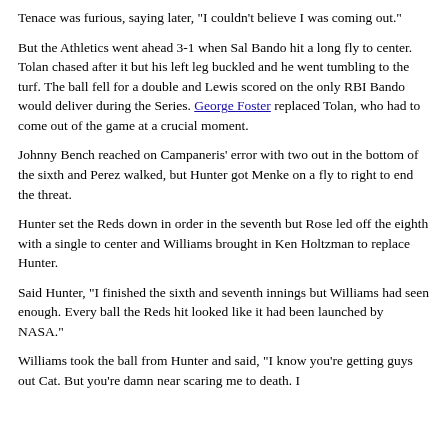Tenace was furious, saying later, "I couldn't believe I was coming out."
But the Athletics went ahead 3-1 when Sal Bando hit a long fly to center. Tolan chased after it but his left leg buckled and he went tumbling to the turf. The ball fell for a double and Lewis scored on the only RBI Bando would deliver during the Series. George Foster replaced Tolan, who had to come out of the game at a crucial moment.
Johnny Bench reached on Campaneris' error with two out in the bottom of the sixth and Perez walked, but Hunter got Menke on a fly to right to end the threat.
Hunter set the Reds down in order in the seventh but Rose led off the eighth with a single to center and Williams brought in Ken Holtzman to replace Hunter.
Said Hunter, "I finished the sixth and seventh innings but Williams had seen enough. Every ball the Reds hit looked like it had been launched by NASA."
Williams took the ball from Hunter and said, "I know you're getting guys out Cat. But you're damn near scaring me to death. I ...